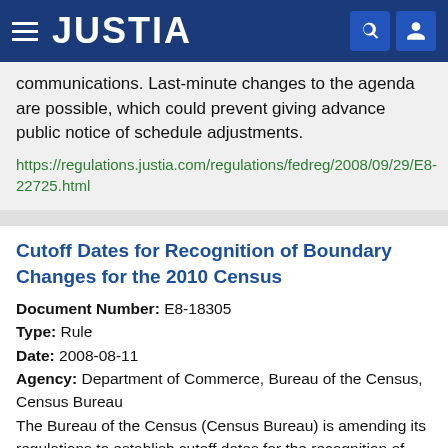JUSTIA
communications. Last-minute changes to the agenda are possible, which could prevent giving advance public notice of schedule adjustments.
https://regulations.justia.com/regulations/fedreg/2008/09/29/E8-22725.html
Cutoff Dates for Recognition of Boundary Changes for the 2010 Census
Document Number: E8-18305
Type: Rule
Date: 2008-08-11
Agency: Department of Commerce, Bureau of the Census, Census Bureau
The Bureau of the Census (Census Bureau) is amending its regulations to establish cutoff dates for the recognition of boundary changes for the 2010 Census.